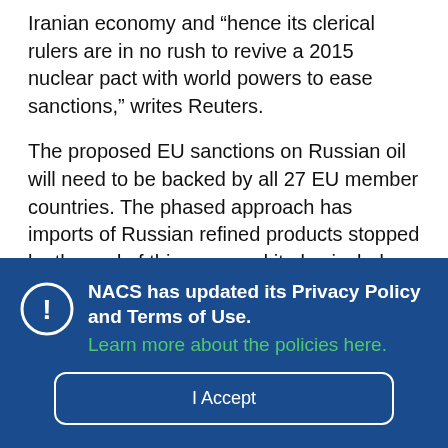Iranian economy and "hence its clerical rulers are in no rush to revive a 2015 nuclear pact with world powers to ease sanctions," writes Reuters.
The proposed EU sanctions on Russian oil will need to be backed by all 27 EU member countries. The phased approach has imports of Russian refined products stopped by the end of this year, and it also includes a ban on all shipping and insurance services for the transportation of Russian oil. However, Hungary
NACS has updated its Privacy Policy and Terms of Use. Learn more about the policies here.
I Accept